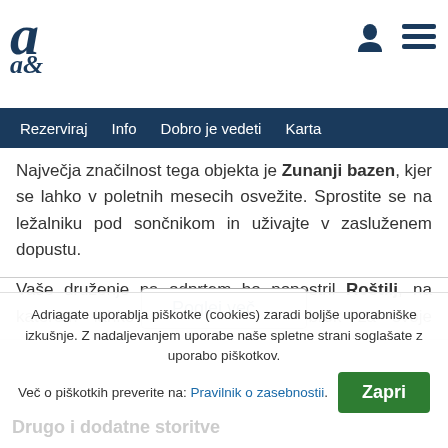a [logo] — user icon — menu icon
Rezerviraj | Info | Dobro je vedeti | Karta
Največja značilnost tega objekta je Zunanji bazen, kjer se lahko v poletnih mesecih osvežite. Sprostite se na ležalniku pod sončnikom in uživajte v zasluženem dopustu.
Vaše druženje na odprtem bo popestril Roštilj, na katerem lahko pripravite sočen obrok za svoje najdražje. Priporočamo Vam ribo, ki jo lahko kupite na domači tržnici ali pri domačih ribirih.
Poglej več ∨
Adriagate uporablja piškotke (cookies) zaradi boljše uporabniške izkušnje. Z nadaljevanjem uporabe naše spletne strani soglašate z uporabo piškotkov.
Več o piškotkih preverite na: Pravilnik o zasebnosti. Zapri